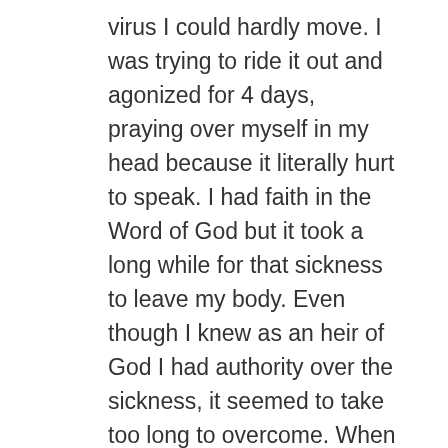virus I could hardly move. I was trying to ride it out and agonized for 4 days, praying over myself in my head because it literally hurt to speak. I had faith in the Word of God but it took a long while for that sickness to leave my body. Even though I knew as an heir of God I had authority over the sickness, it seemed to take too long to overcome. When we look at those who Christ healed in the Bible, one thing stands out. Most people who were healed by Jesus perused their healing from Jesus. Some testimonies are in Mark 10:47, Matt 8:13 and Mark 2:4. Their faith in knowing what Jesus can do helped them to eagerly s Him out for the healing. Our faith . to be more than wishful thinking. The